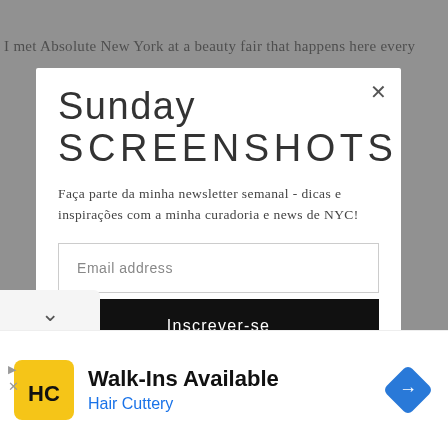I met Absolute New York at a beauty fair that happens here every
[Figure (screenshot): Newsletter signup modal overlay on a blog page. Modal titled 'Sunday SCREENSHOTS' with description in Portuguese, an email input field, and a black subscribe button labeled 'Inscrever-se'.]
Sunday
SCREENSHOTS
Faça parte da minha newsletter semanal - dicas e inspirações com a minha curadoria e news de NYC!
Email address
Inscrever-se
[Figure (screenshot): Advertisement banner for Hair Cuttery showing 'Walk-Ins Available' with yellow HC logo and blue navigation icon.]
Walk-Ins Available
Hair Cuttery